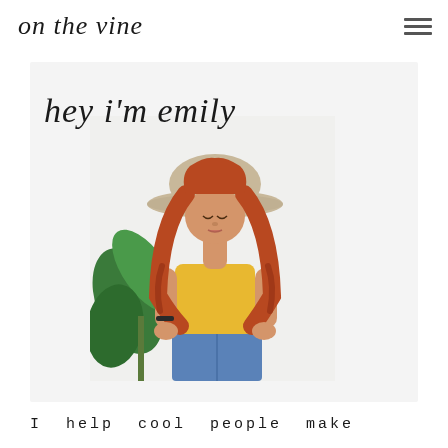on the vine
[Figure (photo): A young woman with long red hair wearing a tan wide-brim hat and yellow crop top with jeans, standing next to a green leafy plant against a white background. Text overlay in cursive reads 'hey i'm emily'.]
I help cool people make